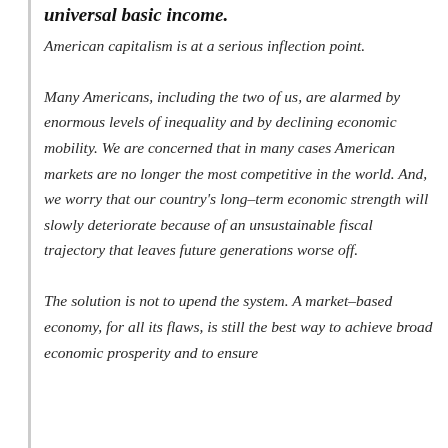universal basic income.
American capitalism is at a serious inflection point.

Many Americans, including the two of us, are alarmed by enormous levels of inequality and by declining economic mobility. We are concerned that in many cases American markets are no longer the most competitive in the world. And, we worry that our country's long-term economic strength will slowly deteriorate because of an unsustainable fiscal trajectory that leaves future generations worse off.

The solution is not to upend the system. A market-based economy, for all its flaws, is still the best way to achieve broad economic prosperity and to ensure...